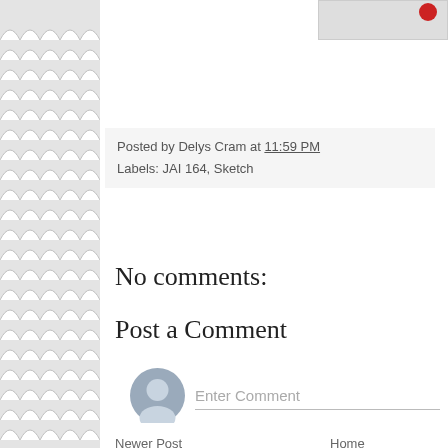[Figure (illustration): Scallop/fish-scale decorative pattern on left sidebar, gray and white]
[Figure (illustration): Partial gray box with red dot icon in top right corner]
Posted by Delys Cram at 11:59 PM
Labels: JAI 164, Sketch
No comments:
Post a Comment
[Figure (illustration): Gray silhouette avatar/user icon circle]
Enter Comment
Newer Post
Home
View mobile version
Subscribe to: Post Comments (Atom)